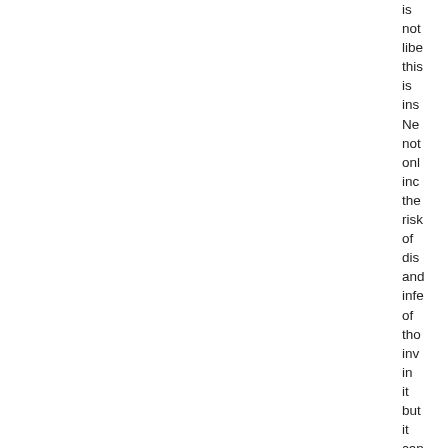is not libe this is ins Ne not onl inc the risk of dis and infe of tho inv in it but it can als